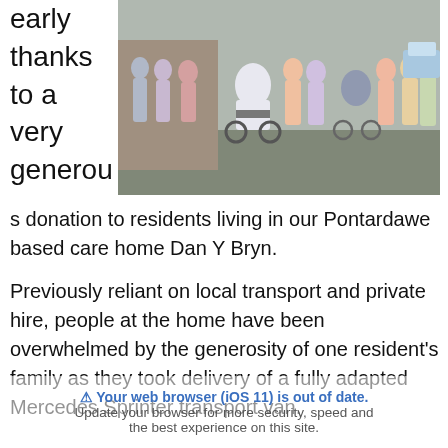early thanks to a very generous donation to residents living in our Pontardawe based care home Dan Y Bryn.
[Figure (photo): Group photo of care home residents and staff outside a building, including two people in wheelchairs]
Previously reliant on local transport and private hire, people at the home have been overwhelmed by the generosity of one resident's family as they took delivery of a fully adapted Mercedes Sprinter transport van.
Your web browser (iOS 11) is out of date. Update your browser for more security, speed and the best experience on this site.